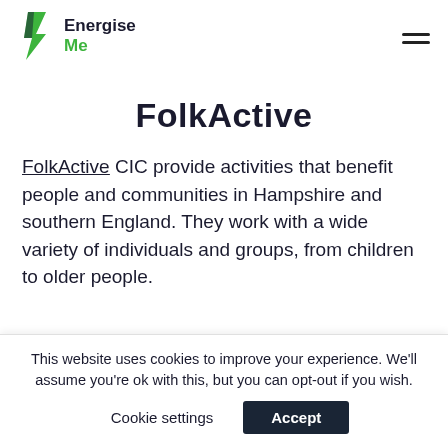Energise Me [logo] [hamburger menu]
FolkActive
FolkActive CIC provide activities that benefit people and communities in Hampshire and southern England. They work with a wide variety of individuals and groups, from children to older people.
This website uses cookies to improve your experience. We'll assume you're ok with this, but you can opt-out if you wish.
Cookie settings  Accept